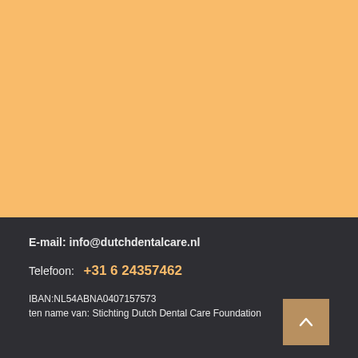[Figure (other): Orange/amber background section filling the top portion of the page]
E-mail: info@dutchdentalcare.nl
Telefoon:   +31 6 24357462
IBAN:NL54ABNA0407157573
ten name van: Stichting Dutch Dental Care Foundation
[Figure (other): Scroll-to-top button with upward chevron arrow on tan/brown background]